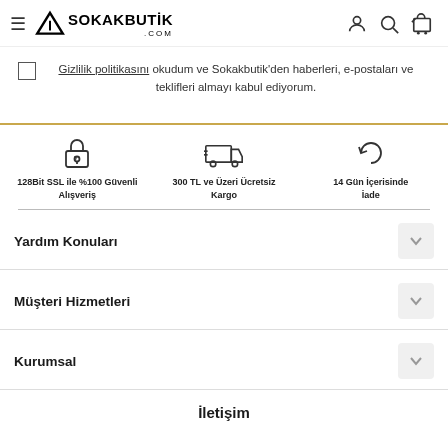SOKAKBUTİK.COM
Gizlilik politikasını okudum ve Sokakbutik'den haberleri, e-postaları ve teklifleri almayı kabul ediyorum.
[Figure (infographic): Three feature icons: 128Bit SSL ile %100 Güvenli Alışveriş (padlock icon), 300 TL ve Üzeri Ücretsiz Kargo (delivery truck icon), 14 Gün İçerisinde İade (return arrow icon)]
Yardım Konuları
Müşteri Hizmetleri
Kurumsal
İletişim